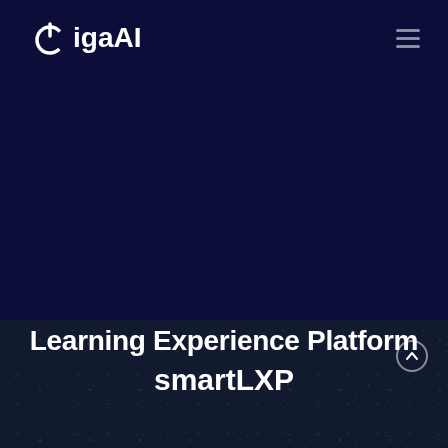GigaAI
[Figure (logo): GigaAI logo with power icon symbol followed by text 'GigaAI' in white on dark navy background]
Learning Experience Platform
smartLXP